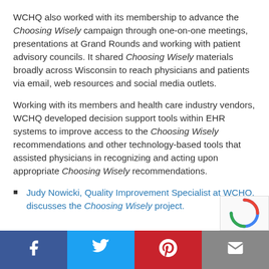WCHQ also worked with its membership to advance the Choosing Wisely campaign through one-on-one meetings, presentations at Grand Rounds and working with patient advisory councils. It shared Choosing Wisely materials broadly across Wisconsin to reach physicians and patients via email, web resources and social media outlets.
Working with its members and health care industry vendors, WCHQ developed decision support tools within EHR systems to improve access to the Choosing Wisely recommendations and other technology-based tools that assisted physicians in recognizing and acting upon appropriate Choosing Wisely recommendations.
Judy Nowicki, Quality Improvement Specialist at WCHQ, discusses the Choosing Wisely project.
Facebook | Twitter | Pinterest | Email